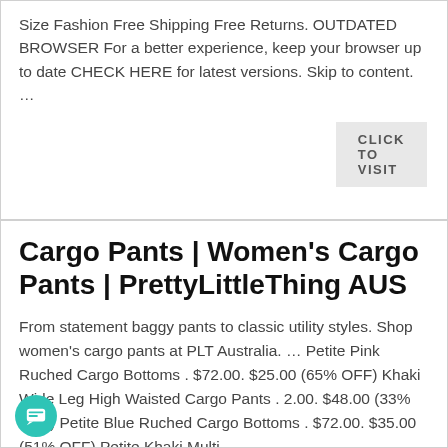Size Fashion Free Shipping Free Returns. OUTDATED BROWSER For a better experience, keep your browser up to date CHECK HERE for latest versions. Skip to content. …
CLICK TO VISIT
Cargo Pants | Women's Cargo Pants | PrettyLittleThing AUS
From statement baggy pants to classic utility styles. Shop women's cargo pants at PLT Australia. … Petite Pink Ruched Cargo Bottoms . $72.00. $25.00 (65% OFF) Khaki Wide Leg High Waisted Cargo Pants . $72.00. $48.00 (33% OFF) Petite Blue Ruched Cargo Bottoms . $72.00. $35.00 (51% OFF) Petite Khaki Multi